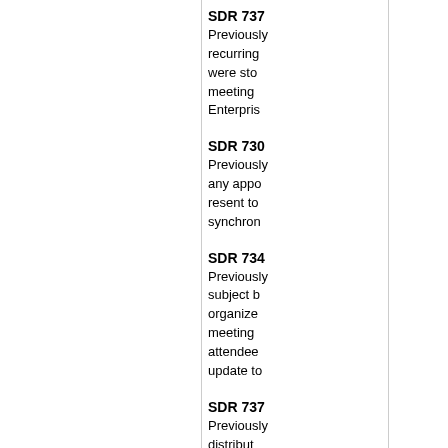SDR 737
Previously recurring were sto meeting Enterpris
SDR 730
Previously any appo resent to synchron
SDR 734
Previously subject b organize meeting attendee update to
SDR 737
Previously distribut